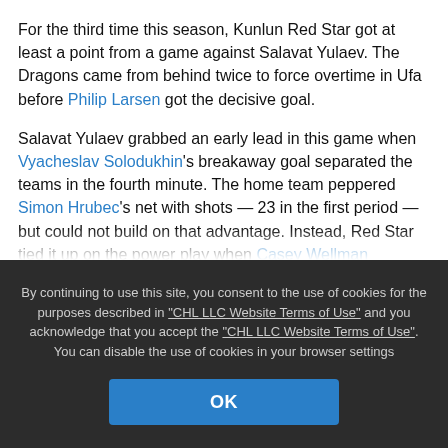For the third time this season, Kunlun Red Star got at least a point from a game against Salavat Yulaev. The Dragons came from behind twice to force overtime in Ufa before Philip Larsen got the decisive goal.
Salavat Yulaev grabbed an early lead in this game when Vyacheslav Solodukhin's breakaway goal separated the teams in the fourth minute. The home team peppered Simon Hrubec's net with shots — 23 in the first period — but could not build on that advantage. Instead, Red Star tied it up on the power play when Casey Wellman redirected a Ryan Sproul shot past Juha Metsola for his first goal in Red Star colors.
The teams traded power play goals in the second frame, with Teemu Hartikainen restoring the home lead only for
By continuing to use this site, you consent to the use of cookies for the purposes described in "CHL LLC Website Terms of Use" and you acknowledge that you accept the "CHL LLC Website Terms of Use". You can disable the use of cookies in your browser settings